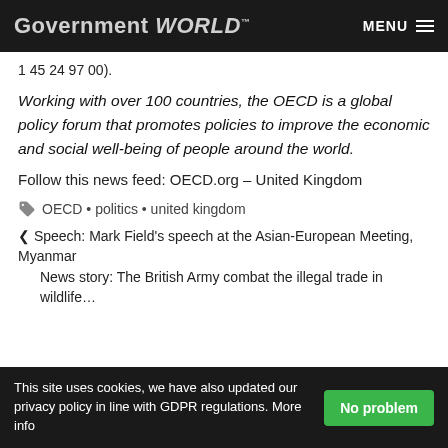Government WORLD™  MENU
1 45 24 97 00).
Working with over 100 countries, the OECD is a global policy forum that promotes policies to improve the economic and social well-being of people around the world.
Follow this news feed: OECD.org – United Kingdom
🏷 OECD • politics • united kingdom
❮ Speech: Mark Field's speech at the Asian-European Meeting, Myanmar
News story: The British Army combat the illegal trade in wildlife…
This site uses cookies, we have also updated our privacy policy in line with GDPR regulations. More info